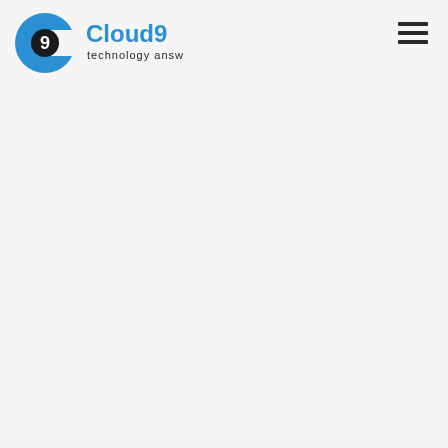[Figure (logo): Cloud9 technology answers logo: a blue circular C shape with a black circle containing the number 9, followed by 'Cloud9' in blue bold text and 'technology answers' in smaller dark text below]
[Figure (other): Hamburger menu icon: three horizontal dark lines stacked vertically, indicating a navigation menu]